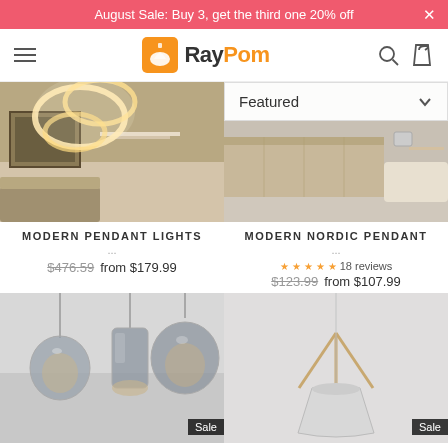August Sale: Buy 3, get the third one 20% off
[Figure (logo): RayPom lighting store logo with orange lamp icon]
[Figure (photo): Modern pendant lights in a living room - circular LED ceiling lights]
[Figure (photo): Modern Nordic pendant - bedroom with wooden headboard]
MODERN PENDANT LIGHTS ...
$476.59  from $179.99
MODERN NORDIC PENDANT ...
18 reviews  $123.99  from $107.99
[Figure (photo): Glass pendant lights in grey tones - Sale badge]
[Figure (photo): Nordic tripod pendant light - Sale badge]